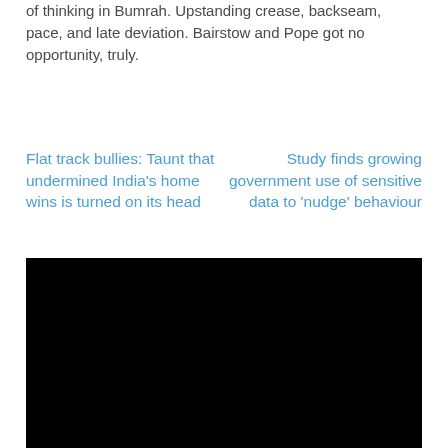of thinking in Bumrah. Upstanding crease, backseam, pace, and late deviation. Bairstow and Pope got no opportunity, truly.
Flat track bullies: Taunt that undermined India's home wins is turned on its head
Study finds growing government use of sensitive data to 'nudge' behaviour
[Figure (photo): Black rectangular image/video player area]